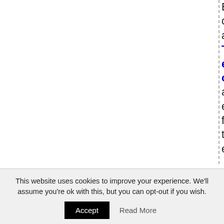EPA, is quite obviously not a reader of Thurles.Info and is not aware of the evidence forwarded to the EPA. No explanation
This website uses cookies to improve your experience. We'll assume you're ok with this, but you can opt-out if you wish.